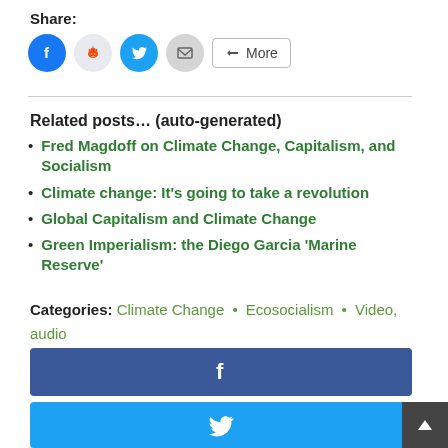Share:
[Figure (infographic): Social share buttons: Facebook (blue circle), Reddit (light circle), Twitter (blue circle), Email (grey circle), More button]
Related posts... (auto-generated)
Fred Magdoff on Climate Change, Capitalism, and Socialism
Climate change: It's going to take a revolution
Global Capitalism and Climate Change
Green Imperialism: the Diego Garcia 'Marine Reserve'
Categories: Climate Change • Ecosocialism • Video, audio
Tags:
[Figure (infographic): Facebook share button (dark blue bar with f icon)]
[Figure (infographic): Twitter share button (light blue bar with bird icon)]